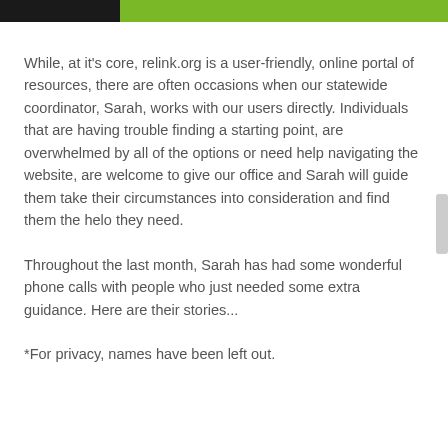[Figure (other): Header bar with black section on left and green section on right]
While, at it's core, relink.org is a user-friendly, online portal of resources, there are often occasions when our statewide coordinator, Sarah, works with our users directly. Individuals that are having trouble finding a starting point, are overwhelmed by all of the options or need help navigating the website, are welcome to give our office and Sarah will guide them take their circumstances into consideration and find them the helo they need.
Throughout the last month, Sarah has had some wonderful phone calls with people who just needed some extra guidance. Here are their stories...
*For privacy, names have been left out.